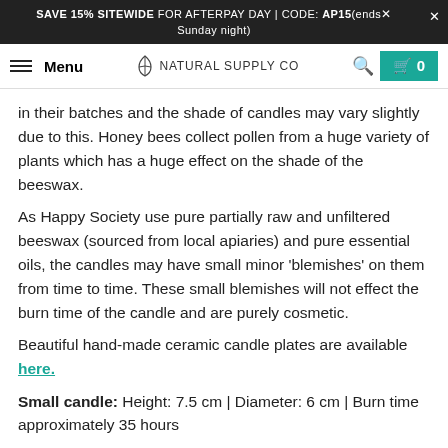SAVE 15% SITEWIDE FOR AFTERPAY DAY | CODE: AP15(ends Sunday night)
Menu  NATURAL SUPPLY CO  🔍  🛒 0
in their batches and the shade of candles may vary slightly due to this. Honey bees collect pollen from a huge variety of plants which has a huge effect on the shade of the beeswax.
As Happy Society use pure partially raw and unfiltered beeswax (sourced from local apiaries) and pure essential oils, the candles may have small minor 'blemishes' on them from time to time. These small blemishes will not effect the burn time of the candle and are purely cosmetic.
Beautiful hand-made ceramic candle plates are available here.
Small candle: Height: 7.5 cm | Diameter: 6 cm | Burn time approximately 35 hours
Large candle: Height: 15 cm | Diameter: 6 cm  | Burn time approximately 70 hours